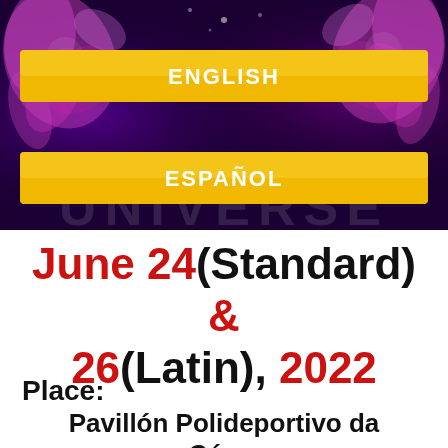[Figure (illustration): Dark fantasy/dance themed banner with purple and magenta floral abstract decorations on dark background, with two golden yellow buttons labeled ENGLISH and ESPAÑOL overlaid]
June 24(Standard) & 26(Latin), 2022
Place:
Pavillón Polideportivo da Cór... (truncated at page bottom)